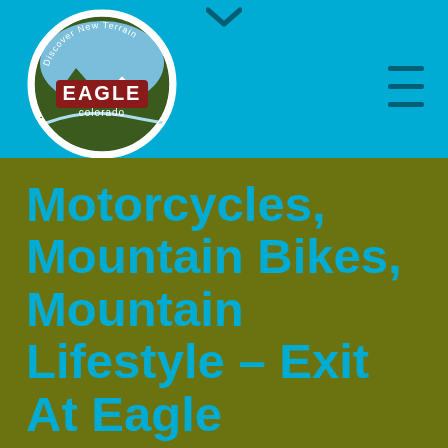[Figure (logo): Eagle Colorado circular logo with green mountain scene and red EAGLE text, 'Discover New Terrain' around the rim]
Motorcycles, Mountain Bikes, Mountain Lifestyle – Exit At Eagle
HOME » MOTORCYCLES, MOUNTAIN BIKES, MOUNTAIN LIFESTYLE – EXIT AT EAGLE